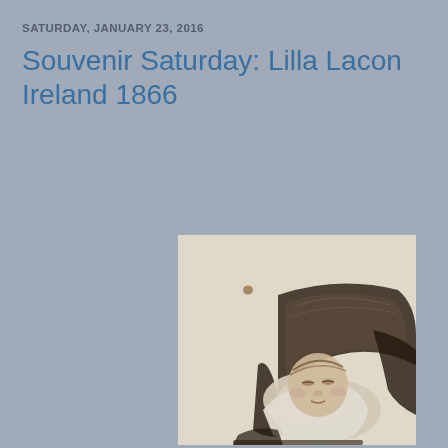SATURDAY, JANUARY 23, 2016
Souvenir Saturday: Lilla Lacon Ireland 1866
[Figure (photo): Vintage sepia-tone photograph of a baby lying in a dark pram/carriage, shown from waist up, wearing white clothing. The photo has an off-white/cream background with a small brown spot visible in the upper-left area of the photo.]